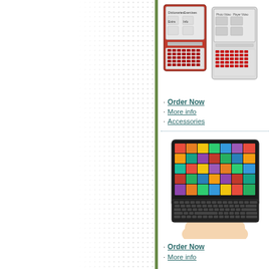[Figure (photo): Two handheld electronic dictionary / e-reader devices with QWERTY keyboards and screens showing menu interfaces]
Order Now
More info
Accessories
[Figure (photo): A hand holding a tablet device with a colorful tiled app screen and a black keyboard attached at the bottom]
Order Now
More info